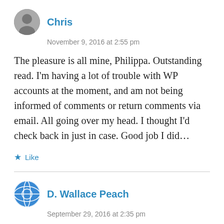[Figure (photo): Avatar photo of Chris, a grayscale image of a person]
Chris
November 9, 2016 at 2:55 pm
The pleasure is all mine, Philippa. Outstanding read. I'm having a lot of trouble with WP accounts at the moment, and am not being informed of comments or return comments via email. All going over my head. I thought I'd check back in just in case. Good job I did…
Like
[Figure (photo): Avatar of D. Wallace Peach, a circular globe-like icon with blue/green colors]
D. Wallace Peach
September 29, 2016 at 2:35 pm